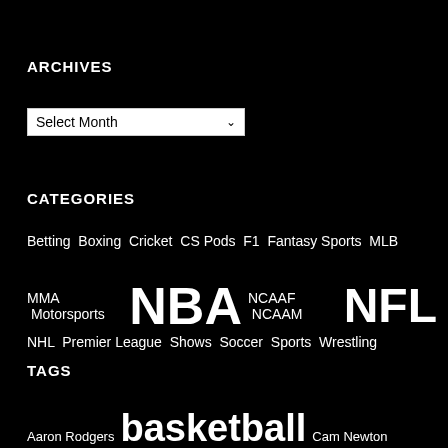ARCHIVES
[Figure (other): A dropdown select box labeled 'Select Month' with a dropdown arrow]
CATEGORIES
Betting  Boxing  Cricket  CS Pods  F1  Fantasy Sports  MLB  MMA  Motorsports  NBA  NCAAF  NCAAM  NFL  NHL  Premier League  Shows  Soccer  Sports  Wrestling
TAGS
Aaron Rodgers  basketball  Cam Newton  Chicago Bears